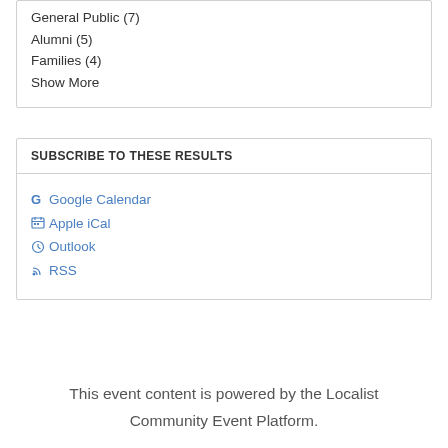General Public (7)
Alumni (5)
Families (4)
Show More
SUBSCRIBE TO THESE RESULTS
Google Calendar
Apple iCal
Outlook
RSS
This event content is powered by the Localist Community Event Platform.